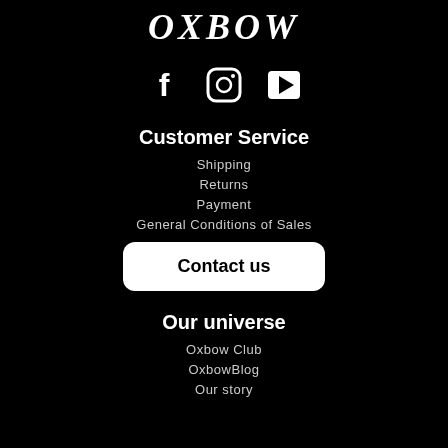OXBOW
[Figure (illustration): Social media icons: Facebook (f), Instagram (camera square), YouTube (play button square)]
Customer Service
Shipping
Returns
Payment
General Conditions of Sales
Contact us
Our universe
Oxbow Club
OxbowBlog
Our story